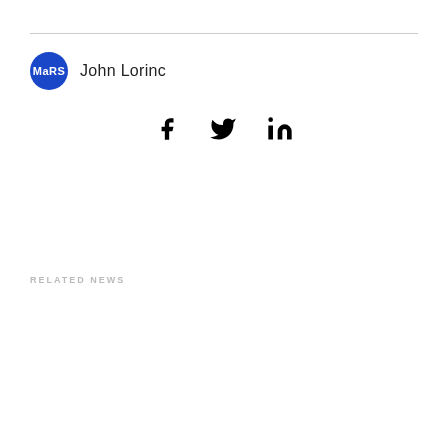[Figure (logo): MaRS logo - blue circle with white MaRS text, next to author name John Lorinc]
John Lorinc
[Figure (infographic): Social media share icons: Facebook (f), Twitter (bird), LinkedIn (in)]
RELATED NEWS